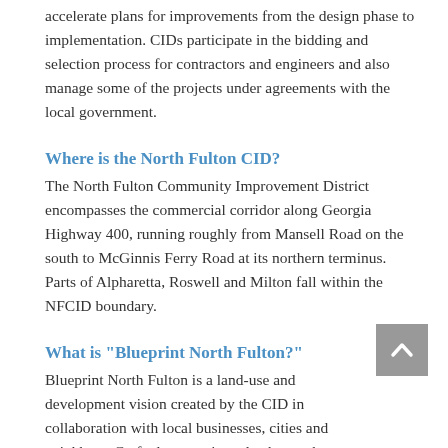accelerate plans for improvements from the design phase to implementation. CIDs participate in the bidding and selection process for contractors and engineers and also manage some of the projects under agreements with the local government.
Where is the North Fulton CID?
The North Fulton Community Improvement District encompasses the commercial corridor along Georgia Highway 400, running roughly from Mansell Road on the south to McGinnis Ferry Road at its northern terminus. Parts of Alpharetta, Roswell and Milton fall within the NFCID boundary.
What is "Blueprint North Fulton?"
Blueprint North Fulton is a land-use and development vision created by the CID in collaboration with local businesses, cities and neighbors. Crafted to sustain and enhance the exceptional quality of life in North Fulton and its robust